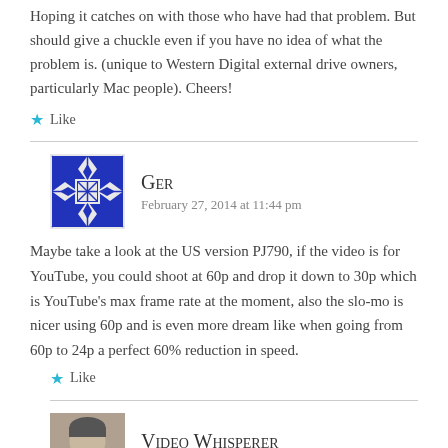Hoping it catches on with those who have had that problem. But should give a chuckle even if you have no idea of what the problem is. (unique to Western Digital external drive owners, particularly Mac people). Cheers!
★ Like
GER says: February 27, 2014 at 11:44 pm
Maybe take a look at the US version PJ790, if the video is for YouTube, you could shoot at 60p and drop it down to 30p which is YouTube's max frame rate at the moment, also the slo-mo is nicer using 60p and is even more dream like when going from 60p to 24p a perfect 60% reduction in speed.
★ Like
Video Whisperer says: February 28, 2014 at 6:56 am